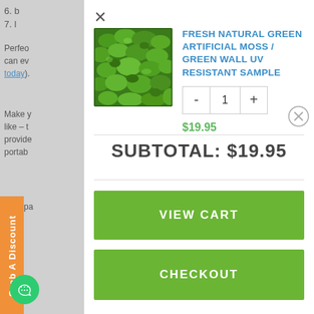6. b
7. l
Perfect
can ev
today).
Make y
like – t
provi
portab
Only pa
[Figure (screenshot): Shopping cart modal popup showing a product: Fresh Natural Green Artificial Moss / Green Wall UV Resistant Sample, quantity 1, price $19.95, subtotal $19.95, with VIEW CART and CHECKOUT buttons]
FRESH NATURAL GREEN ARTIFICIAL MOSS / GREEN WALL UV RESISTANT SAMPLE
$19.95
SUBTOTAL: $19.95
VIEW CART
CHECKOUT